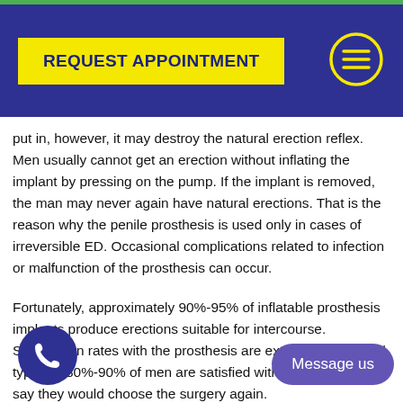REQUEST APPOINTMENT
put in, however, it may destroy the natural erection reflex. Men usually cannot get an erection without inflating the implant by pressing on the pump. If the implant is removed, the man may never again have natural erections. That is the reason why the penile prosthesis is used only in cases of irreversible ED. Occasional complications related to infection or malfunction of the prosthesis can occur.
Fortunately, approximately 90%-95% of inflatable prosthesis implants produce erections suitable for intercourse. Satisfaction rates with the prosthesis are extremely high, and typically 80%-90% of men are satisfied with the results and say they would choose the surgery again.
Insurance plans are likely to pay for the penile pros...